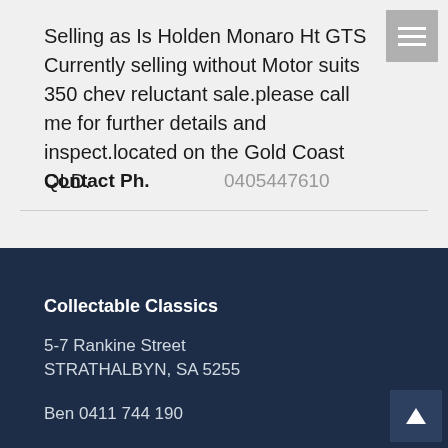Selling as Is Holden Monaro Ht GTS Currently selling without Motor suits 350 chev reluctant sale.please call me for further details and inspect.located on the Gold Coast QLD.
Contact Ph.  0405447610
Collectable Classics
5-7 Rankine Street
STRATHALBYN, SA 5255
Ben 0411 744 190